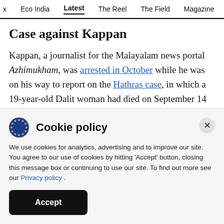x  Eco India  Latest  The Reel  The Field  Magazine  Video
Case against Kappan
Kappan, a journalist for the Malayalam news portal Azhimukham, was arrested in October while he was on his way to report on the Hathras case, in which a 19-year-old Dalit woman had died on September 14 after four upper caste man gangraped her. The Uttar Pradesh Police later
Cookie policy
We use cookies for analytics, advertising and to improve our site. You agree to our use of cookies by hitting 'Accept' button, closing this message box or continuing to use our site. To find out more see our Privacy policy .
Accept